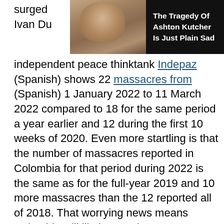[Figure (infographic): Advertisement banner showing a man's photo on the left with dark background and bold white text reading 'The Tragedy Of Ashton Kutcher Is Just Plain Sad']
surged ... ent Ivan Du... ian independent peace thinktank Indepaz (Spanish) shows 22 massacres from (Spanish) 1 January 2022 to 11 March 2022 compared to 18 for the same period a year earlier and 12 during the first 10 weeks of 2020. Even more startling is that the number of massacres reported in Colombia for that period during 2022 is the same as for the full-year 2019 and 10 more massacres than the 12 reported all of 2018. That worrying news means Colombia will likely experience more massacres during 2022 than for any year in over a decade. There are fears the Andean nation is returning to levels of violence that marred the period from 1995 to 2005, one of the most violent epochs of recent times, where various illegal armed groups battled for control of territory and lucrative smuggling routes. This indicates that the rule of law is breaking down, notably in remote regions where the petroleum industry operates, which historically have long had a weak government presence.